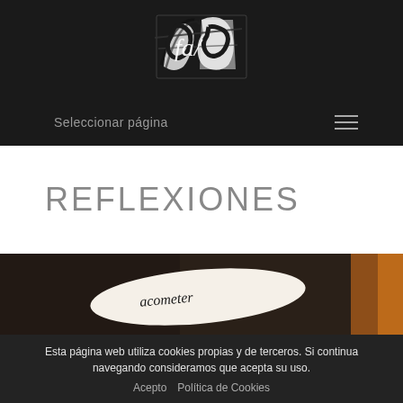[Figure (logo): Hand-drawn/brush-stroke logo on black background, appears to show stylized letters 'fal' or similar]
Seleccionar página
REFLEXIONES
[Figure (photo): Dark wooden background with a white leaf/petal-shaped object bearing the handwritten word 'acometer', with orange accent at right edge]
Esta página web utiliza cookies propias y de terceros. Si continua navegando consideramos que acepta su uso.
Acepto  Política de Cookies